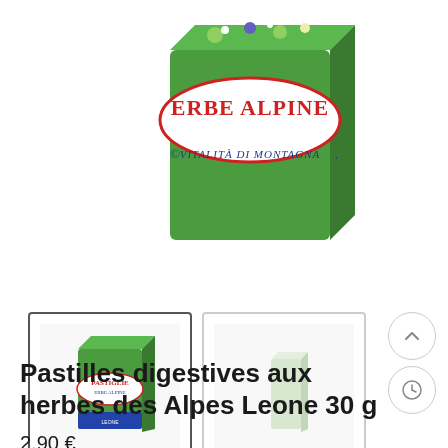[Figure (photo): Product photo of Pastilles digestives aux herbes des Alpes Leone 30g — a green box labeled ERBE ALPINE with VITALITÀ DI MONTAGNA]
[Figure (photo): Thumbnail 1: front view of the green Erbe Alpine pastilles box]
[Figure (photo): Thumbnail 2: back/side view of the pastilles box, smaller image]
Pastilles digestives aux herbes des Alpes Leone 30 g
2,90 €